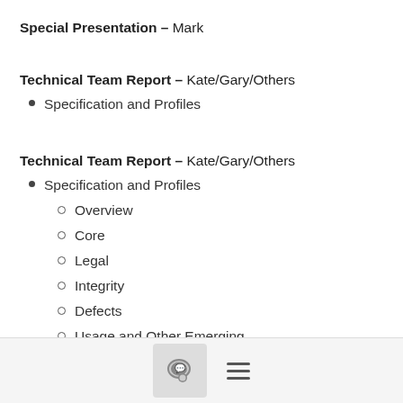Special Presentation – Mark
Technical Team Report – Kate/Gary/Others
Specification and Profiles
Technical Team Report – Kate/Gary/Others
Specification and Profiles
Overview
Core
Legal
Integrity
Defects
Usage and Other Emerging
Tooling
Legal Team Report – Jilayne/Paul/Steve
[Figure (other): Footer bar with chat bubble icon button and hamburger menu icon]